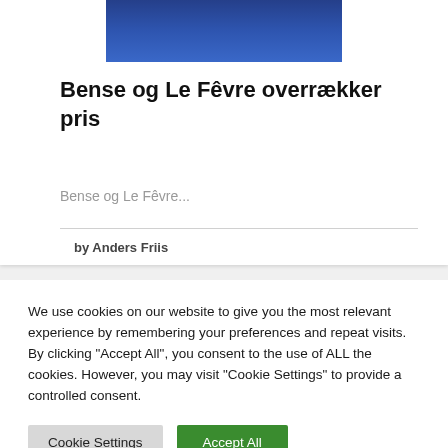[Figure (photo): Partial photo of a person in a blue outfit, cropped at top]
Bense og Le Fêvre overrækker pris
Bense og Le Fêvre...
by Anders Friis
We use cookies on our website to give you the most relevant experience by remembering your preferences and repeat visits. By clicking "Accept All", you consent to the use of ALL the cookies. However, you may visit "Cookie Settings" to provide a controlled consent.